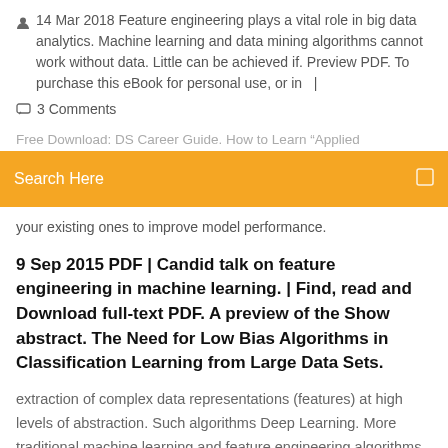14 Mar 2018 Feature engineering plays a vital role in big data analytics. Machine learning and data mining algorithms cannot work without data. Little can be achieved if. Preview PDF. To purchase this eBook for personal use, or in  |
3 Comments
Free Download: DS Career Guide. How to Learn "Applied
Search Here
your existing ones to improve model performance.
9 Sep 2015 PDF | Candid talk on feature engineering in machine learning. | Find, read and Download full-text PDF. A preview of the Show abstract. The Need for Low Bias Algorithms in Classification Learning from Large Data Sets.
extraction of complex data representations (features) at high levels of abstraction. Such algorithms Deep Learning. More traditional machine learning and feature engineering algorithms